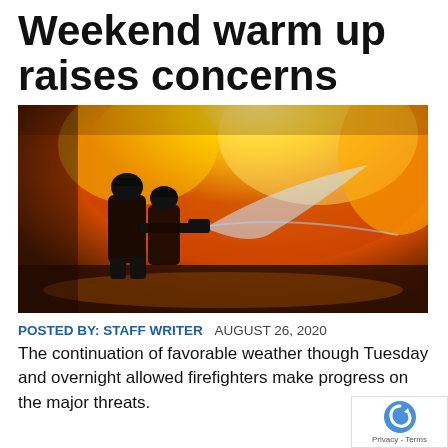Weekend warm up raises concerns
[Figure (photo): Two firefighters silhouetted against a massive wall of orange and yellow fire, spraying water from a hose toward the flames.]
POSTED BY: STAFF WRITER   AUGUST 26, 2020
The continuation of favorable weather though Tuesday and overnight allowed firefighters make progress on the major threats.